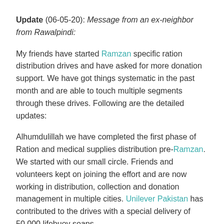Update (06-05-20): Message from an ex-neighbor from Rawalpindi:
My friends have started Ramzan specific ration distribution drives and have asked for more donation support. We have got things systematic in the past month and are able to touch multiple segments through these drives. Following are the detailed updates:
Alhumdulillah we have completed the first phase of Ration and medical supplies distribution pre-Ramzan. We started with our small circle. Friends and volunteers kept on joining the effort and are now working in distribution, collection and donation management in multiple cities. Unilever Pakistan has contributed to the drives with a special delivery of 50,000 lifebuoy soaps.